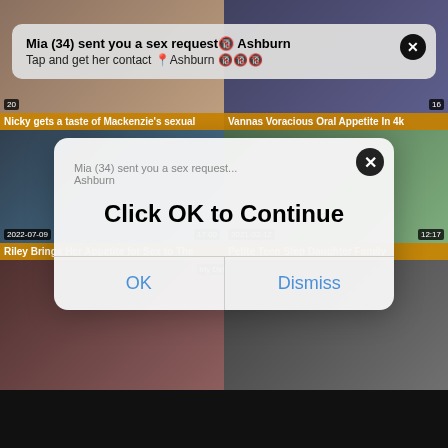[Figure (screenshot): Video thumbnail grid showing adult content website with notification popups. Top-left thumbnail shows date '20'. Top-right thumbnail shows duration '16'. Labels below first row: 'Nicky gets a taste of Mackenzie's sexual' and 'Vannas Voracious Oral Appetite In 4k'. Second row left shows date '2022-07-09' and duration '17:00', right shows '2021-02-12' and '12:17'. Labels: 'Riley Brings Her Appetite for Sex to The' and 'Petite Teen Step Daughter Family'. Third row two more thumbnails. Notification banner top: 'Mia (34) sent you a sex request Ashburn / Tap and get her contact Ashburn'. Dialog popup center: ghost text 'Mia (34) sent you a sex request... Ashburn', large text 'Click OK to Continue', buttons 'OK' and 'Dismiss'.]